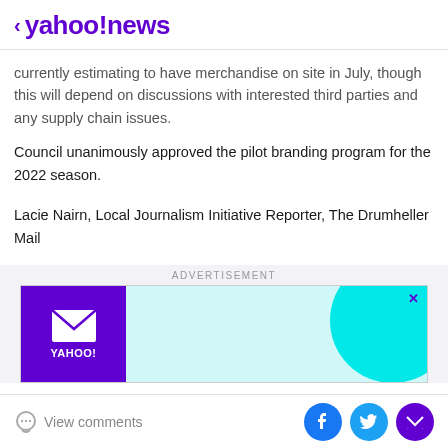< yahoo!news
currently estimating to have merchandise on site in July, though this will depend on discussions with interested third parties and any supply chain issues.
Council unanimously approved the pilot branding program for the 2022 season.
Lacie Nairn, Local Journalism Initiative Reporter, The Drumheller Mail
[Figure (screenshot): Advertisement section with ADVERTISEMENT label, Yahoo Mail ad showing purple box with envelope icon and Yahoo! text on left, teal circle graphic on right, with close X button]
View comments | Facebook share | Twitter share | Mail share